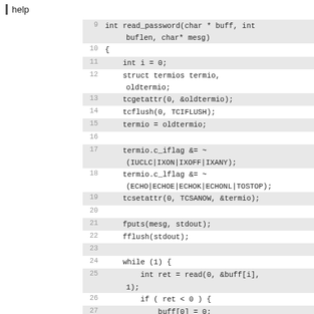help
Code listing: read_password function, lines 9-30